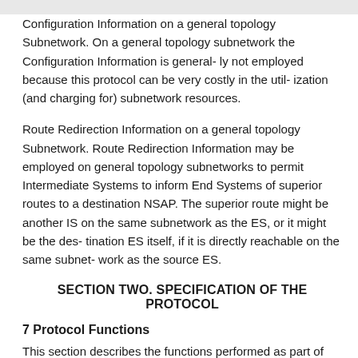Configuration Information on a general topology Subnetwork. On a general topology subnetwork the Configuration Information is general- ly not employed because this protocol can be very costly in the util- ization (and charging for) subnetwork resources.
Route Redirection Information on a general topology Subnetwork. Route Redirection Information may be employed on general topology subnetworks to permit Intermediate Systems to inform End Systems of superior routes to a destination NSAP. The superior route might be another IS on the same subnetwork as the ES, or it might be the des- tination ES itself, if it is directly reachable on the same subnet- work as the source ES.
SECTION TWO. SPECIFICATION OF THE PROTOCOL
7 Protocol Functions
This section describes the functions performed as part of